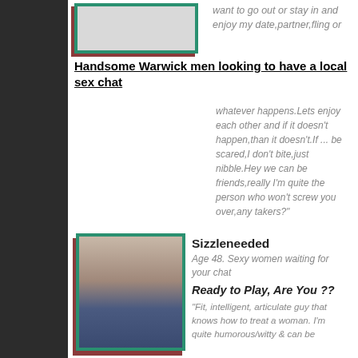want to go out or stay in and enjoy my date,partner,fling or
Handsome Warwick men looking to have a local sex chat
whatever happens.Lets enjoy each other and if it doesn't happen,than it doesn't.If ... be scared,I don't bite,just nibble.Hey we can be friends,really I'm quite the person who won't screw you over,any takers?"
[Figure (photo): Profile photo of a person, partially visible at top]
Sizzleneeded
Age 48. Sexy women waiting for your chat
Ready to Play, Are You ??
"Fit, intelligent, articulate guy that knows how to treat a woman. I'm quite humorous/witty & can be
[Figure (photo): Profile photo of shirtless man in jeans]